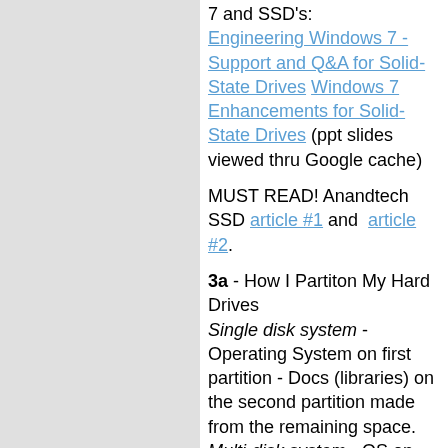7 and SSD's: Engineering Windows 7 - Support and Q&A for Solid-State Drives Windows 7 Enhancements for Solid-State Drives (ppt slides viewed thru Google cache)
MUST READ! Anandtech SSD article #1 and article #2.
3a - How I Partiton My Hard Drives Single disk system - Operating System on first partition - Docs (libraries) on the second partition made from the remaining space. Multi-disk system - OS on first drive - Docs (libraries) on second...